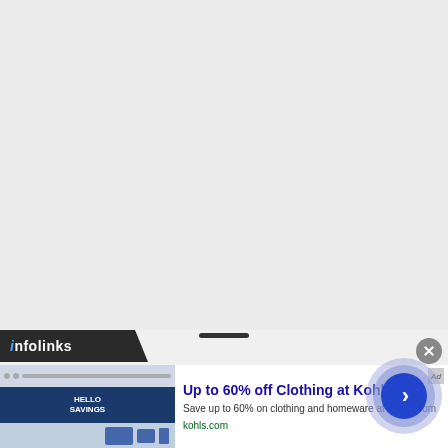[Figure (screenshot): Large empty gray area representing a webpage content region above an advertisement overlay]
[Figure (screenshot): Infolinks advertisement banner showing 'Up to 60% off Clothing at Kohl's' with thumbnail image, headline, description text 'Save up to 60% on clothing and homeware at Kohl's.com', URL 'kohls.com', close button, drag handle, and circular CTA arrow button]